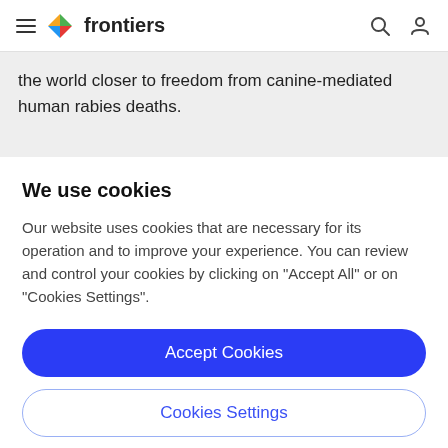frontiers
the world closer to freedom from canine-mediated human rabies deaths.
We use cookies
Our website uses cookies that are necessary for its operation and to improve your experience. You can review and control your cookies by clicking on "Accept All" or on "Cookies Settings".
Accept Cookies
Cookies Settings